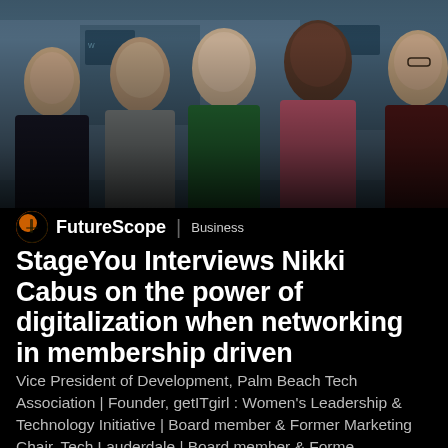[Figure (photo): Group photo of five smiling women standing together at what appears to be a tech event or conference, with branded banners/signage in the background. The image has a dark gradient overlay at the bottom.]
FutureScope | Business
StageYou Interviews Nikki Cabus on the power of digitalization when networking in membership driven organizations
Vice President of Development, Palm Beach Tech Association | Founder, getITgirl : Women's Leadership & Technology Initiative | Board member & Former Marketing Chair, Tech Lauderdale | Board member & Forme